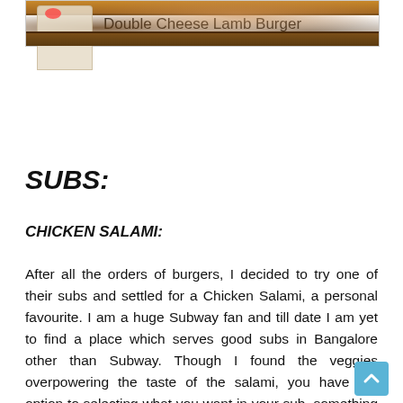[Figure (photo): Photo of a Double Cheese Lamb Burger in a wooden tray with a bag visible in the background]
Double Cheese Lamb Burger
SUBS:
CHICKEN SALAMI:
After all the orders of burgers, I decided to try one of their subs and settled for a Chicken Salami, a personal favourite. I am a huge Subway fan and till date I am yet to find a place which serves good subs in Bangalore other than Subway. Though I found the veggies overpowering the taste of the salami, you have the option to selecting what you want in your sub, something I did not attend to, hence the extra crunchiness in my sub. Definitely a good